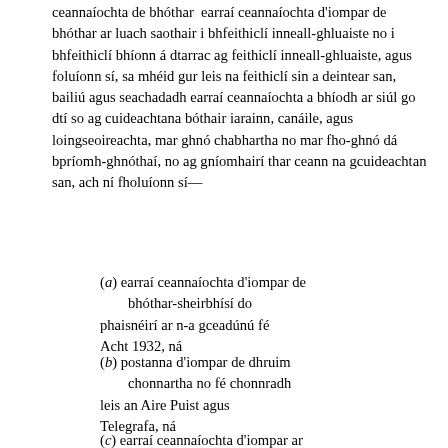ceannaíochta de bhóthar  earraí ceannaíochta d'iompar de bhóthar ar luach saothair i bhfeithiclí inneall-ghluaiste no i bhfeithiclí bhíonn á dtarrac ag feithiclí inneall-ghluaiste, agus foluíonn sí, sa mhéid gur leis na feithiclí sin a deintear san, bailiú agus seachadadh earraí ceannaíochta a bhíodh ar siúl go dtí so ag cuideachtana bóthair iarainn, canáile, agus loingseoireachta, mar ghnó chabhartha no mar fho-ghnó dá bpríomh-ghnóthaí, no ag gníomhairí thar ceann na gcuideachtan san, ach ní fholuíonn sí—
(a) earraí ceannaíochta d'iompar de bhóthar-sheirbhísí do phaisnéirí ar n-a gceadúnú fé Acht 1932, ná
(b) postanna d'iompar de dhruim chonnartha no fé chonnradh leis an Aire Puist agus Telegrafa, ná
(c) earraí ceannaíochta d'iompar ar